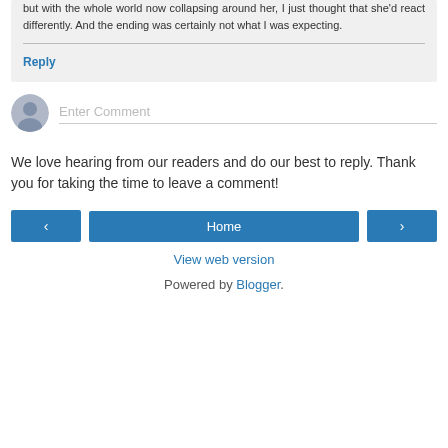but with the whole world now collapsing around her, I just thought that she'd react differently. And the ending was certainly not what I was expecting.
Reply
[Figure (other): Enter Comment input field with user avatar icon]
We love hearing from our readers and do our best to reply. Thank you for taking the time to leave a comment!
[Figure (other): Navigation buttons: left arrow, Home, right arrow]
View web version
Powered by Blogger.